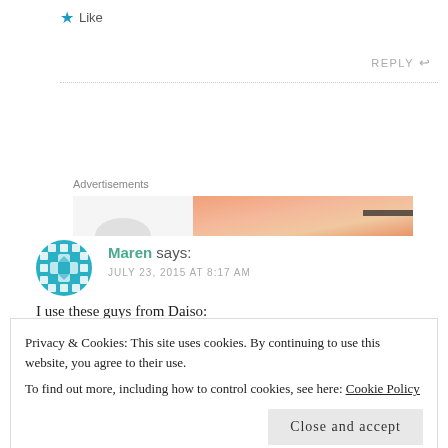★ Like
REPLY ↩
[Figure (infographic): Advertisements banner with orange/peach gradient design]
[Figure (illustration): Teal/cyan geometric avatar icon for user Maren]
Maren says:
JULY 23, 2015 AT 8:17 AM
I use these guys from Daiso:
Privacy & Cookies: This site uses cookies. By continuing to use this website, you agree to their use.
To find out more, including how to control cookies, see here: Cookie Policy
Close and accept
They barely contain my bras (36 DD), but they do hold